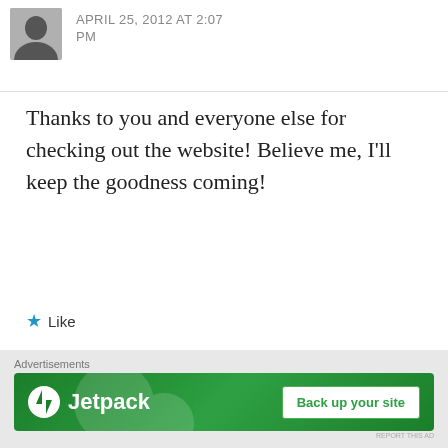APRIL 25, 2012 AT 2:07 PM
Thanks to you and everyone else for checking out the website! Believe me, I'll keep the goodness coming!
★ Like
REPLY
Advertisements
[Figure (infographic): WordPress advertisement: Build a writing habit. Post on the go. GET THE APP with WordPress logo]
REPORT THIS AD
Advertisements
[Figure (infographic): Jetpack advertisement: green banner with Jetpack logo and 'Back up your site' button]